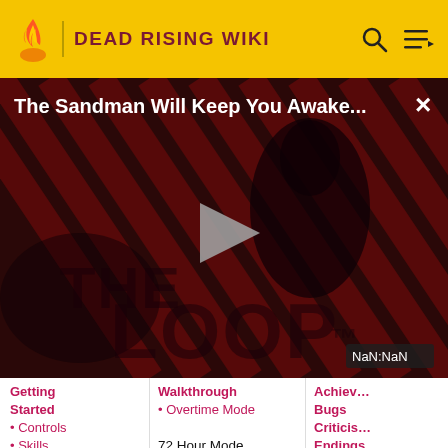DEAD RISING WIKI
[Figure (screenshot): Video overlay showing 'The Sandman Will Keep You Awake...' with a dark gothic figure on striped red/black background, play button in center, THE LOOP watermark, NaN:NaN timestamp badge, and close X button.]
Getting Started
Controls
Skills (Moves)
Map
Walkthrough
Overtime Mode
72 Hour Mode
Missions Including all times
Achieven...
Bugs
Criticism
Endings
Gifts fo...
Katey